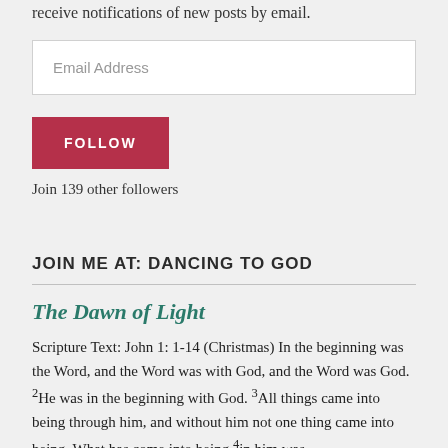receive notifications of new posts by email.
Email Address
FOLLOW
Join 139 other followers
JOIN ME AT: DANCING TO GOD
The Dawn of Light
Scripture Text: John 1: 1-14 (Christmas) In the beginning was the Word, and the Word was with God, and the Word was God. 2He was in the beginning with God. 3All things came into being through him, and without him not one thing came into being. What has come into being 4in him was